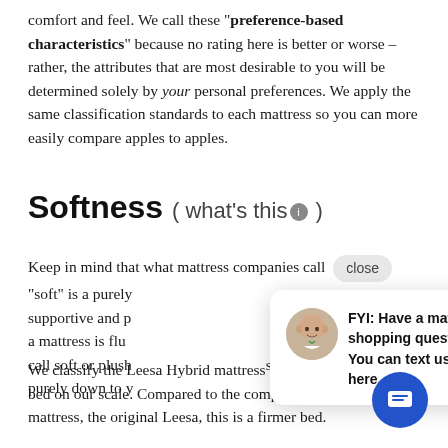comfort and feel. We call these "preference-based characteristics" because no rating here is better or worse – rather, the attributes that are most desirable to you will be determined solely by your personal preferences. We apply the same classification standards to each mattress so you can more easily compare apples to apples.
Softness ( what's this ℹ )
Keep in mind that what mattress companies call [close] "soft" is a purely supportive and p… er a mattress is flu… s call soft or plush… s purely down to y…
[Figure (other): Tooltip popup with bald man avatar and text: FYI: Have a mattress shopping question? You can text us here.]
We classify the Leesa Hybrid mattress as a Medium m bed on our scale. Compared to the company's ot mattress, the original Leesa, this is a firmer bed.